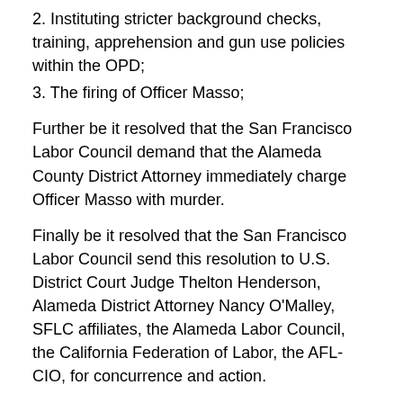2. Instituting stricter background checks, training, apprehension and gun use policies within the OPD;
3. The firing of Officer Masso;
Further be it resolved that the San Francisco Labor Council demand that the Alameda County District Attorney immediately charge Officer Masso with murder.
Finally be it resolved that the San Francisco Labor Council send this resolution to U.S. District Court Judge Thelton Henderson, Alameda District Attorney Nancy O'Malley, SFLC affiliates, the Alameda Labor Council, the California Federation of Labor, the AFL-CIO, for concurrence and action.
Submitted by Marcus Holder, ILWU Local 10; David Welsh, NALC 214; Carl Finamore, IAMAW, Air Transport